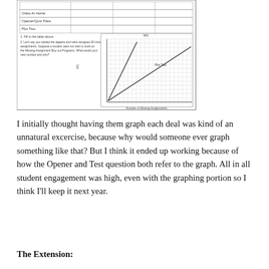[Figure (other): A student worksheet showing a table with rows labeled 'Class At Home', 'Opener/Quiz Pass', and 'Plot Two', along with a coordinate graph titled with y-axis labeled 'WG' and x-axis labeled 'Number of Missing Assignments'. The graph shows two lines plotted, one labeled 'Plot Two'.]
I initially thought having them graph each deal was kind of an unnatural excercise, because why would someone ever graph something like that?  But I think it ended up working because of how the Opener and Test question both refer to the graph.  All in all student engagement was high, even with the graphing portion so I think I'll keep it next year.
The Extension: